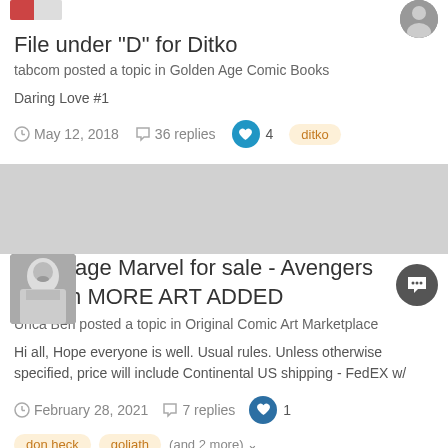File under "D" for Ditko
tabcom posted a topic in Golden Age Comic Books
Daring Love #1
May 12, 2018   36 replies   4   ditko
Silver age Marvel for sale - Avengers Splash MORE ART ADDED
Unca Ben posted a topic in Original Comic Art Marketplace
Hi all, Hope everyone is well. Usual rules. Unless otherwise specified, price will include Continental US shipping - FedEX w/
February 28, 2021   7 replies   1   don heck   goliath   (and 2 more)